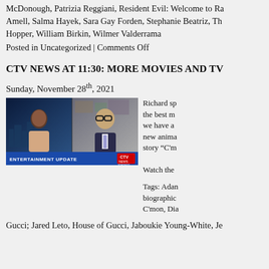McDonough, Patrizia Reggiani, Resident Evil: Welcome to Ra... Amell, Salma Hayek, Sara Gay Forden, Stephanie Beatriz, Th... Hopper, William Birkin, Wilmer Valderrama
Posted in Uncategorized | Comments Off
CTV NEWS AT 11:30: MORE MOVIES AND TV
Sunday, November 28th, 2021
[Figure (screenshot): CTV News Entertainment Update segment showing a female anchor on the left with a city skyline background, and a male guest with glasses on the right in a study/office. Lower bar reads ENTERTAINMENT UPDATE with CTV News Toronto logo.]
Richard sp... the best m... we have a ... new anima... story “C'm... Watch the ...
Tags: Adan... biographic... C'mon, Di...
Gucci; Jared Leto, House of Gucci, Jaboukie Young-White, Je...